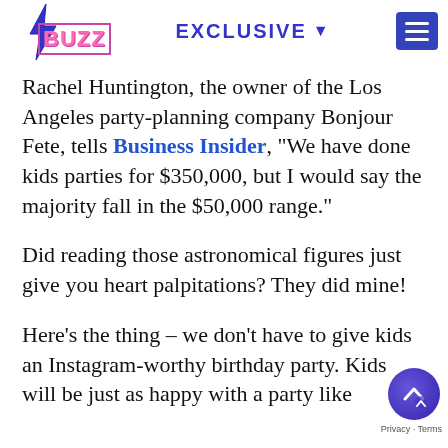BUZZ EXCLUSIVE
Rachel Huntington, the owner of the Los Angeles party-planning company Bonjour Fete, tells Business Insider, “We have done kids parties for $350,000, but I would say the majority fall in the $50,000 range.”
Did reading those astronomical figures just give you heart palpitations? They did mine!
Here’s the thing – we don’t have to give kids an Instagram-worthy birthday party. Kids will be just as happy with a party like